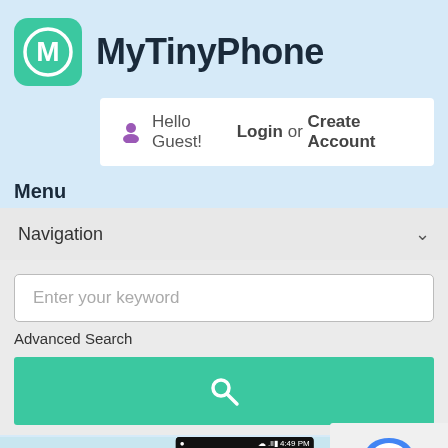[Figure (logo): MyTinyPhone logo with teal rounded square icon containing stylized M letter and circle, next to bold text 'MyTinyPhone']
Hello Guest! Login or Create Account
Menu
Navigation
Enter your keyword
Advanced Search
[Figure (screenshot): Green search button with magnifying glass icon]
[Figure (screenshot): Bottom preview showing a phone screenshot with Andrew BBM notification at 4:49 PM, and reCAPTCHA badge with Privacy and Terms links]